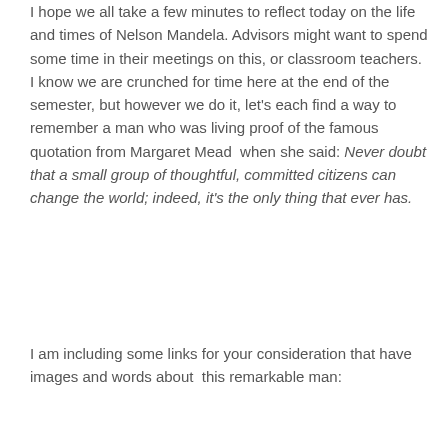I hope we all take a few minutes to reflect today on the life and times of Nelson Mandela. Advisors might want to spend some time in their meetings on this, or classroom teachers.  I know we are crunched for time here at the end of the semester, but however we do it, let's each find a way to remember a man who was living proof of the famous quotation from Margaret Mead  when she said: Never doubt that a small group of thoughtful, committed citizens can change the world; indeed, it's the only thing that ever has.
I am including some links for your consideration that have images and words about  this remarkable man: